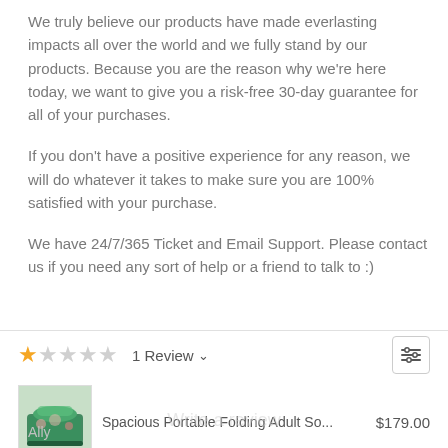We truly believe our products have made everlasting impacts all over the world and we fully stand by our products. Because you are the reason why we're here today, we want to give you a risk-free 30-day guarantee for all of your purchases.
If you don't have a positive experience for any reason, we will do whatever it takes to make sure you are 100% satisfied with your purchase.
We have 24/7/365 Ticket and Email Support. Please contact us if you need any sort of help or a friend to talk to :)
[Figure (other): Star rating showing 1 filled star and 4 empty stars, with text '1 Review' and a dropdown chevron, plus a filter/sliders icon button on the right]
[Figure (other): Product row with a small product thumbnail image of a folding bathtub, product name 'Spacious Portable Folding Adult So...' and price '$179.00']
Ally